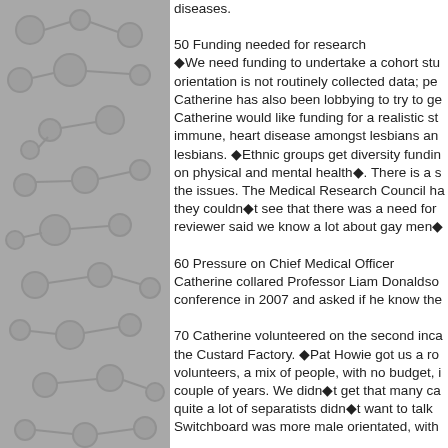diseases.
50 Funding needed for research
◆We need funding to undertake a cohort stu... orientation is not routinely collected data; pe... Catherine has also been lobbying to try to ge... Catherine would like funding for a realistic st... immune, heart disease amongst lesbians an... lesbians. ◆Ethnic groups get diversity fundin... on physical and mental health◆. There is a s... the issues. The Medical Research Council ha... they couldn◆t see that there was a need for... reviewer said we know a lot about gay men◆
60 Pressure on Chief Medical Officer
Catherine collared Professor Liam Donaldso... conference in 2007 and asked if he know the...
70 Catherine volunteered on the second inca... the Custard Factory. ◆Pat Howie got us a ro... volunteers, a mix of people, with no budget, i... couple of years. We didn◆t get that many ca... quite a lot of separatists didn◆t want to talk ... Switchboard was more male orientated, with...
90 Catherine had previously been on Lincol...